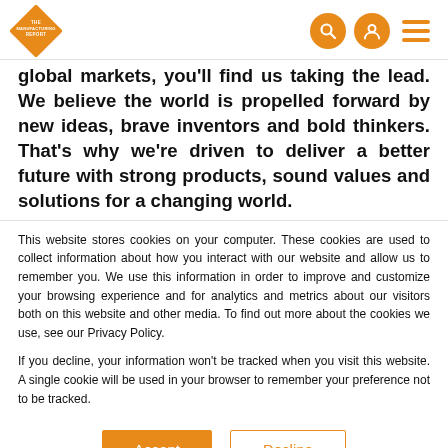The Manufacturing Report
global markets, you'll find us taking the lead. We believe the world is propelled forward by new ideas, brave inventors and bold thinkers. That's why we're driven to deliver a better future with strong products, sound values and solutions for a changing world.
This website stores cookies on your computer. These cookies are used to collect information about how you interact with our website and allow us to remember you. We use this information in order to improve and customize your browsing experience and for analytics and metrics about our visitors both on this website and other media. To find out more about the cookies we use, see our Privacy Policy.
If you decline, your information won't be tracked when you visit this website. A single cookie will be used in your browser to remember your preference not to be tracked.
Accept | Decline